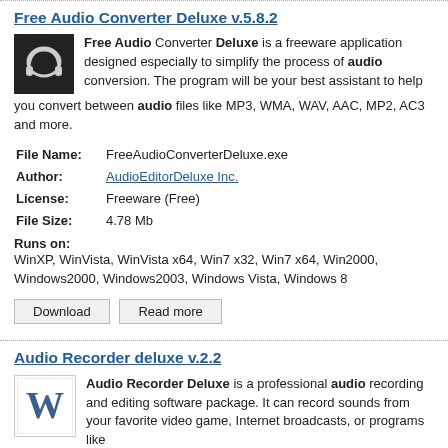Free Audio Converter Deluxe  v.5.8.2
Free Audio Converter Deluxe is a freeware application designed especially to simplify the process of audio conversion. The program will be your best assistant to help you convert between audio files like MP3, WMA, WAV, AAC, MP2, AC3 and more.
| Field | Value |
| --- | --- |
| File Name: | FreeAudioConverterDeluxe.exe |
| Author: | AudioEditorDeluxe Inc. |
| License: | Freeware (Free) |
| File Size: | 4.78 Mb |
| Runs on: | WinXP, WinVista, WinVista x64, Win7 x32, Win7 x64, Win2000, Windows2000, Windows2003, Windows Vista, Windows 8 |
Download  Read more
Audio Recorder deluxe  v.2.2
Audio Recorder Deluxe is a professional audio recording and editing software package. It can record sounds from your favorite video game, Internet broadcasts, or programs like Real Player.